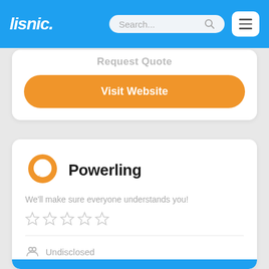lisnic. Search... [menu]
Request Quote
Visit Website
Powerling
We'll make sure everyone understands you!
[Figure (other): 5 empty star rating icons]
Undisclosed
Boston, MA
Core services